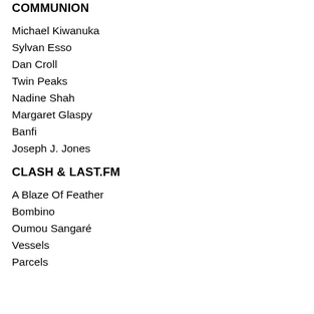COMMUNION
Michael Kiwanuka
Sylvan Esso
Dan Croll
Twin Peaks
Nadine Shah
Margaret Glaspy
Banfi
Joseph J. Jones
CLASH & LAST.FM
A Blaze Of Feather
Bombino
Oumou Sangaré
Vessels
Parcels